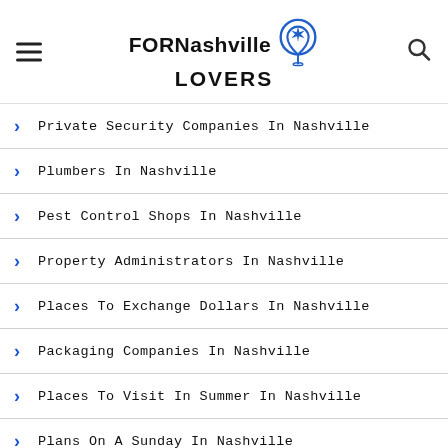FORNashville LOVERS
Private Security Companies In Nashville
Plumbers In Nashville
Pest Control Shops In Nashville
Property Administrators In Nashville
Places To Exchange Dollars In Nashville
Packaging Companies In Nashville
Places To Visit In Summer In Nashville
Plans On A Sunday In Nashville
Plans On A Tuesday In Nashville